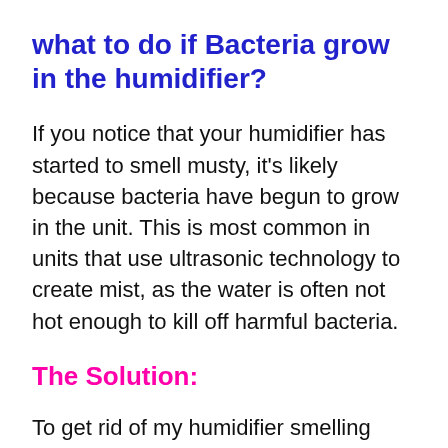what to do if Bacteria grow in the humidifier?
If you notice that your humidifier has started to smell musty, it's likely because bacteria have begun to grow in the unit. This is most common in units that use ultrasonic technology to create mist, as the water is often not hot enough to kill off harmful bacteria.
The Solution:
To get rid of my humidifier smelling musty, start by disinfecting your humidifier. Most